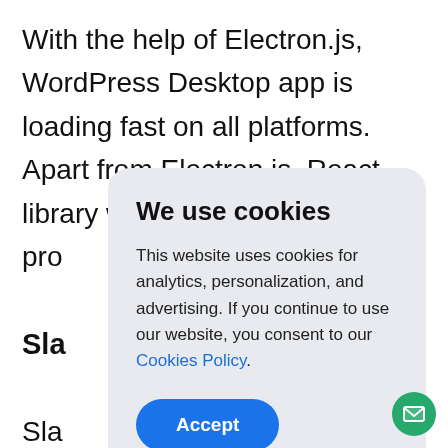With the help of Electron.js, WordPress Desktop app is loading fast on all platforms. Apart from Electron.js, React library was also used for pro Sla Sla wid size cha its all Windows, Linux. Also, mobile Android and iOS
[Figure (screenshot): Cookie consent modal dialog with title 'We use cookies', body text about analytics/personalization/advertising cookies, a 'Cookies Policy' link, and an 'Accept' button.]